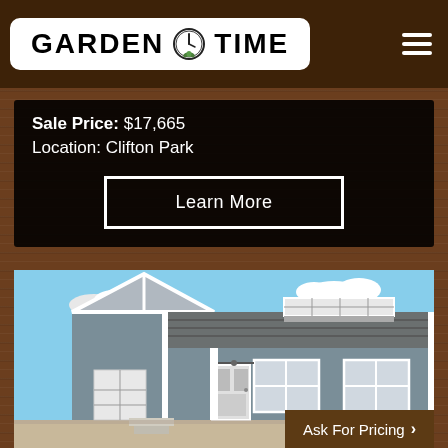GARDEN TIME
Sale Price: $17,665
Location: Clifton Park
Learn More
[Figure (photo): A blue-gray shed/cabin style storage building with white trim, dormer windows, a garage door on the left side, double windows and a barn-style door on the right section, photographed at a lot with other structures in the background.]
Ask For Pricing >